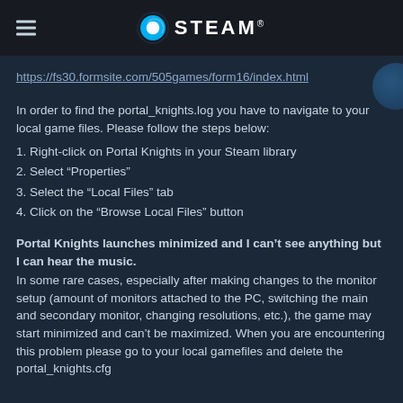STEAM
https://fs30.formsite.com/505games/form16/index.html
In order to find the portal_knights.log you have to navigate to your local game files. Please follow the steps below:
1. Right-click on Portal Knights in your Steam library
2. Select “Properties”
3. Select the “Local Files” tab
4. Click on the “Browse Local Files” button
Portal Knights launches minimized and I can’t see anything but I can hear the music.
In some rare cases, especially after making changes to the monitor setup (amount of monitors attached to the PC, switching the main and secondary monitor, changing resolutions, etc.), the game may start minimized and can’t be maximized. When you are encountering this problem please go to your local gamefiles and delete the portal_knights.cfg